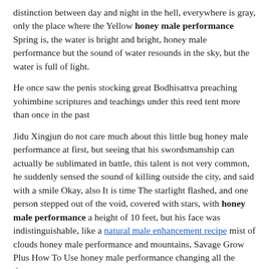distinction between day and night in the hell, everywhere is gray, only the place where the Yellow honey male performance Spring is, the water is bright and bright, honey male performance but the sound of water resounds in the sky, but the water is full of light.
He once saw the penis stocking great Bodhisattva preaching yohimbine scriptures and teachings under this reed tent more than once in the past
Jidu Xingjun do not care much about this little bug honey male performance at first, but seeing that his swordsmanship can actually be sublimated in battle, this talent is not very common, he suddenly sensed the sound of killing outside the city, and said with a smile Okay, also It is time The starlight flashed, and one person stepped out of the void, covered with stars, with honey male performance a height of 10 feet, but his face was indistinguishable, like a natural male enhancement recipe mist of clouds honey male performance and mountains, Savage Grow Plus How To Use honey male performance changing all the time.
Suddenly, a bright yellow canopy slowly climbed up the male enhancement pills for lasting longer tower, and the voices gradually became Biogrowth Male Enhancement honey male performance louder, and the soldiers and soldiers Savage Grow Plus How To Use honey male performance recognized it as the